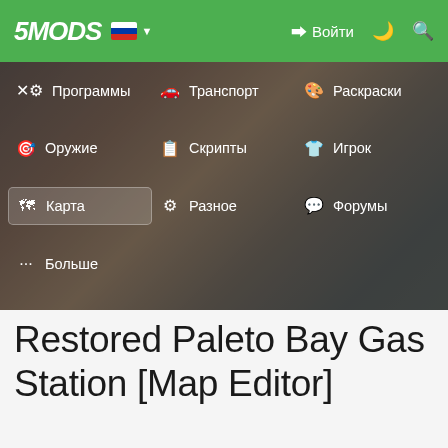5MODS — Войти
Программы
Транспорт
Раскраски
Оружие
Скрипты
Игрок
Карта
Разное
Форумы
Больше
Restored Paleto Bay Gas Station [Map Editor]